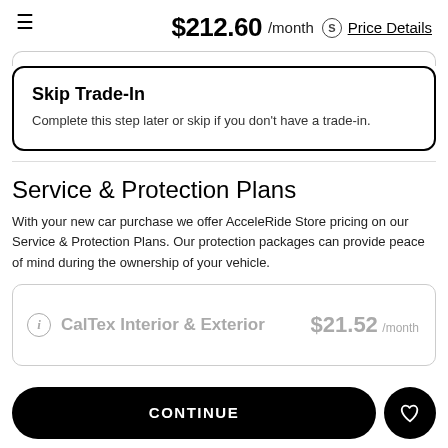$212.60 /month Price Details
Skip Trade-In
Complete this step later or skip if you don't have a trade-in.
Service & Protection Plans
With your new car purchase we offer AcceleRide Store pricing on our Service & Protection Plans. Our protection packages can provide peace of mind during the ownership of your vehicle.
CalTex Interior & Exterior $21.52 /month
CONTINUE